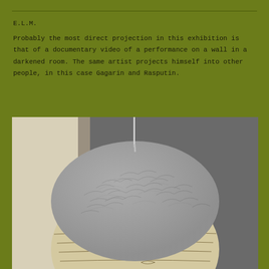E.L.M.
Probably the most direct projection in this exhibition is that of a documentary video of a performance on a wall in a darkened room. The same artist projects himself into other people, in this case Gagarin and Rasputin.
[Figure (photo): Close-up photograph of a dome-shaped sculptural object with a textured grey/silver upper portion resembling crumpled material, and a smooth lower portion with wood-grain line patterns etched into it. A metal rod or wire extends from the top. The background is grey on the right and cream/white on the left.]